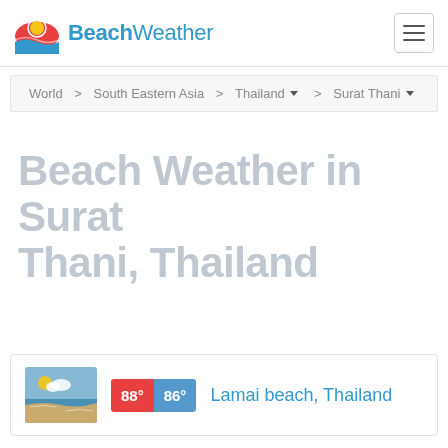BeachWeather
World > South Eastern Asia > Thailand > Surat Thani
Beach Weather in Surat Thani, Thailand
88° 86° Lamai beach, Thailand